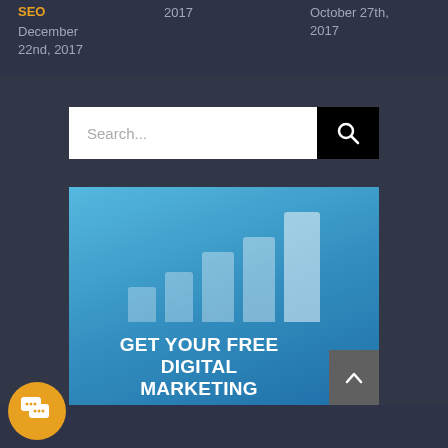SEO
December 22nd, 2017
2017
October 27th, 2017
[Figure (screenshot): Search bar with white input field showing 'Search...' placeholder text and a black search button with magnifying glass icon]
[Figure (illustration): Blue banner ad with ascending bar chart graphic and text 'GET YOUR FREE DIGITAL MARKETING']